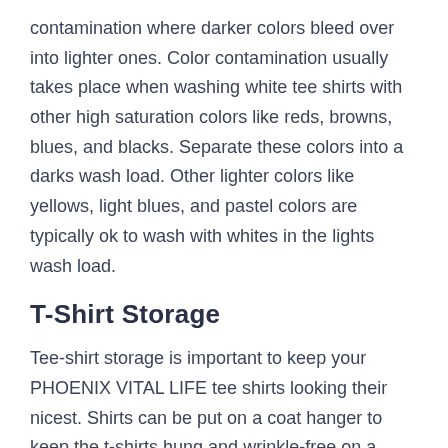contamination where darker colors bleed over into lighter ones. Color contamination usually takes place when washing white tee shirts with other high saturation colors like reds, browns, blues, and blacks. Separate these colors into a darks wash load. Other lighter colors like yellows, light blues, and pastel colors are typically ok to wash with whites in the lights wash load.
T-Shirt Storage
Tee-shirt storage is important to keep your PHOENIX VITAL LIFE tee shirts looking their nicest. Shirts can be put on a coat hanger to keep the t-shirts hung and wrinkle-free on a clothing rack or bar in the closet. The tshirts can likewise be folded nicely and placed into a drawer or kept on a closet rack.